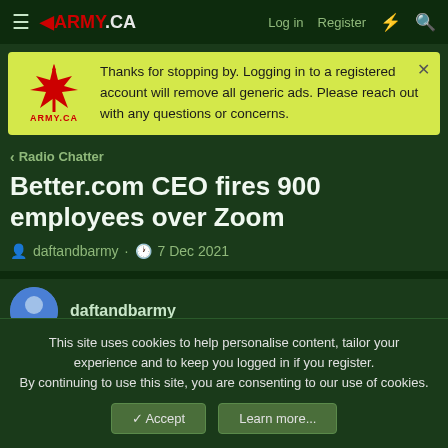ARMY.CA — Log in  Register
Thanks for stopping by. Logging in to a registered account will remove all generic ads. Please reach out with any questions or concerns.
< Radio Chatter
Better.com CEO fires 900 employees over Zoom
daftandbarmy · 7 Dec 2021
daftandbarmy
This site uses cookies to help personalise content, tailor your experience and to keep you logged in if you register.
By continuing to use this site, you are consenting to our use of cookies.